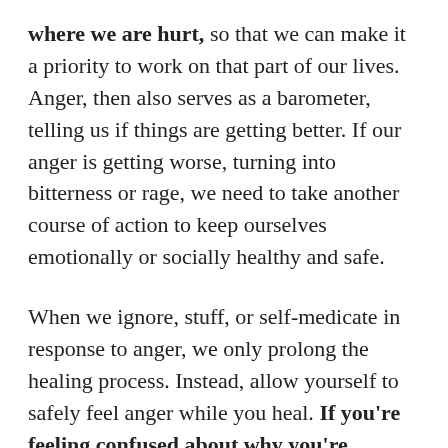where we are hurt, so that we can make it a priority to work on that part of our lives. Anger, then also serves as a barometer, telling us if things are getting better. If our anger is getting worse, turning into bitterness or rage, we need to take another course of action to keep ourselves emotionally or socially healthy and safe.
When we ignore, stuff, or self-medicate in response to anger, we only prolong the healing process. Instead, allow yourself to safely feel anger while you heal. If you're feeling confused about why you're increasingly angry or bitter about something long after it has happened, something is still wrong. Pay